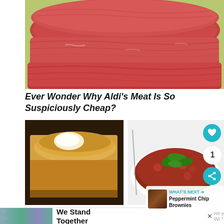[Figure (photo): Close-up photo of sliced raw beef/meat stacked on top of each other, showing red meat texture]
Ever Wonder Why Aldi's Meat Is So Suspiciously Cheap?
[Figure (photo): Photo of a golden-brown piece of cornbread with butter melting on top]
[Figure (photo): Photo of a dish with red meat sauce topped with fresh green basil leaves on a white plate]
[Figure (photo): Advertisement banner: We Stand Together, showing group of people with arms around each other]